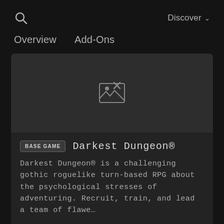🔍  Discover ∨
Overview   Add-Ons
[Figure (screenshot): Dark card area with a broken image placeholder icon centered in a dark gray rectangle]
BASE GAME   Darkest Dungeon®
Darkest Dungeon® is a challenging gothic roguelike turn-based RPG about the psychological stresses of adventuring. Recruit, train, and lead a team of flawe...